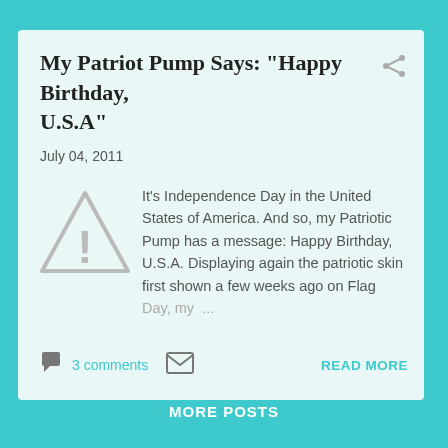My Patriot Pump Says: "Happy Birthday, U.S.A"
July 04, 2011
[Figure (illustration): Gray warning triangle with exclamation mark icon]
It's Independence Day in the United States of America. And so, my Patriotic Pump has a message: Happy Birthday, U.S.A. Displaying again the patriotic skin first shown a few weeks ago on Flag Day, my ...
3 comments
READ MORE
MORE POSTS